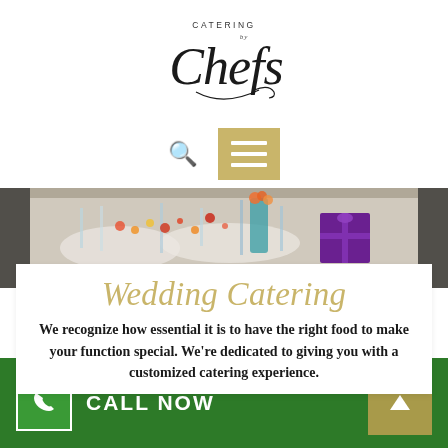[Figure (logo): Catering by Chefs script logo in dark gray/black with decorative cursive lettering]
[Figure (screenshot): Search icon (magnifying glass) and gold/tan hamburger menu button]
[Figure (photo): Photo of elegantly set wedding catering table with flowers, glassware, and a purple gift box]
Wedding Catering
We recognize how essential it is to have the right food to make your function special. We're dedicated to giving you with a customized catering experience.
[Figure (screenshot): Green footer bar with white phone icon box, CALL NOW text in white, and a tan/gold up-arrow button]